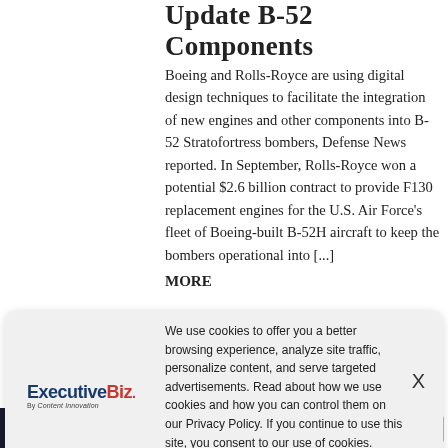Update B-52 Components
Boeing and Rolls-Royce are using digital design techniques to facilitate the integration of new engines and other components into B-52 Stratofortress bombers, Defense News reported. In September, Rolls-Royce won a potential $2.6 billion contract to provide F130 replacement engines for the U.S. Air Force's fleet of Boeing-built B-52H aircraft to keep the bombers operational into [...] MORE
[Figure (screenshot): Cookie consent banner overlay with ExecutiveBiz logo on the left, cookie policy text in the center, and an X close button on the right]
We use cookies to offer you a better browsing experience, analyze site traffic, personalize content, and serve targeted advertisements. Read about how we use cookies and how you can control them on our Privacy Policy. If you continue to use this site, you consent to our use of cookies.
on Engine Cybersecurity